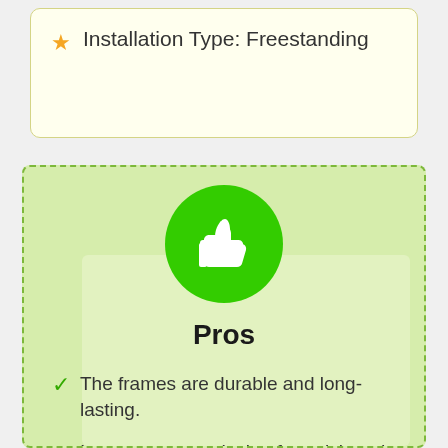Installation Type: Freestanding
[Figure (illustration): Green circle with white thumbs-up icon]
Pros
The frames are durable and long-lasting.
It uses an open design for quick and easy access.
You can customize its shape